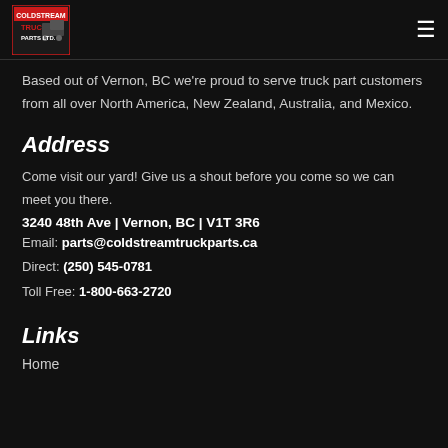Coldstream Truck Parts Ltd. [logo] [hamburger menu]
Based out of Vernon, BC we're proud to serve truck part customers from all over North America, New Zealand, Australia, and Mexico.
Address
Come visit our yard! Give us a shout before you come so we can meet you there.
3240 48th Ave | Vernon, BC | V1T 3R6
Email: parts@coldstreamtruckparts.ca
Direct: (250) 545-0781
Toll Free: 1-800-663-2720
Links
Home